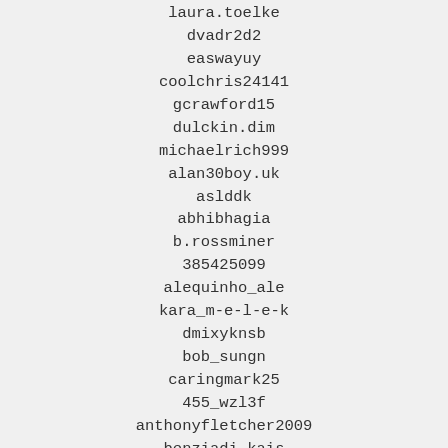laura.toelke
dvadr2d2
easwayuy
coolchris24141
gcrawford15
dulckin.dim
michaelrich999
alan30boy.uk
aslddk
abhibhagia
b.rossminer
385425099
alequinho_ale
kara_m-e-l-e-k
dmixyknsb
bob_sungn
caringmark25
455_wzl3f
anthonyfletcher2009
benziadi.kais
ibengozi136
gala-316
fredo.besson
lex8194
leswilliams62